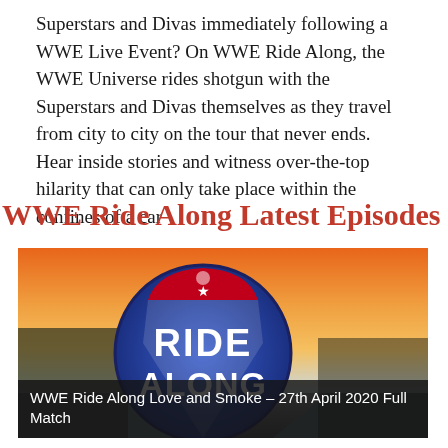Superstars and Divas immediately following a WWE Live Event? On WWE Ride Along, the WWE Universe rides shotgun with the Superstars and Divas themselves as they travel from city to city on the tour that never ends. Hear inside stories and witness over-the-top hilarity that can only take place within the confines of a car
WWE Ride Along Latest Episodes
[Figure (photo): WWE Ride Along logo — a highway interstate shield sign with 'RIDE ALONG' text in bold white letters on a blue circular background, set against a dramatic sunset highway background with orange sky and road stretching into the distance]
WWE Ride Along Love and Smoke – 27th April 2020 Full Match